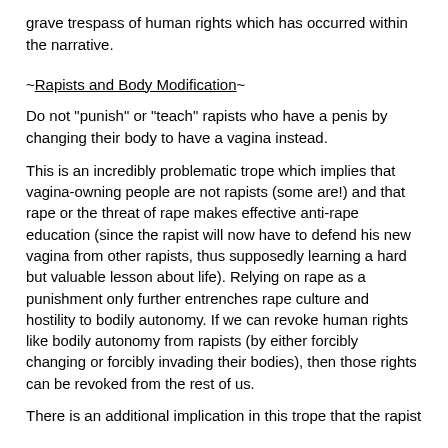grave trespass of human rights which has occurred within the narrative.
~Rapists and Body Modification~
Do not "punish" or "teach" rapists who have a penis by changing their body to have a vagina instead.
This is an incredibly problematic trope which implies that vagina-owning people are not rapists (some are!) and that rape or the threat of rape makes effective anti-rape education (since the rapist will now have to defend his new vagina from other rapists, thus supposedly learning a hard but valuable lesson about life). Relying on rape as a punishment only further entrenches rape culture and hostility to bodily autonomy. If we can revoke human rights like bodily autonomy from rapists (by either forcibly changing or forcibly invading their bodies), then those rights can be revoked from the rest of us.
There is an additional implication in this trope that the rapist